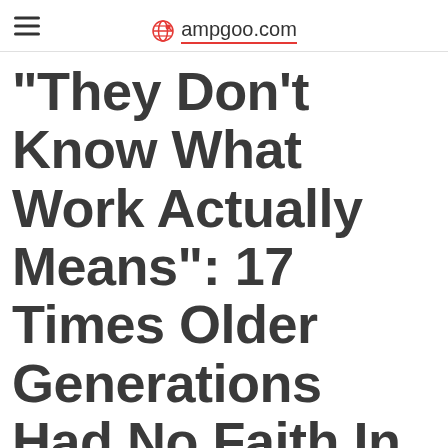ampgoo.com
"They Don't Know What Work Actually Means": 17 Times Older Generations Had No Faith In The Gen Z Workforce